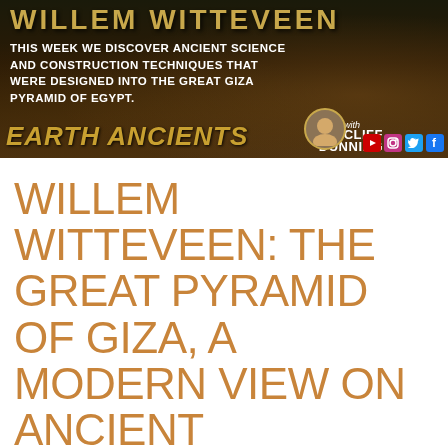[Figure (illustration): Earth Ancients podcast banner featuring Willem Witteveen episode about ancient science and construction techniques of the Great Giza Pyramid of Egypt. Dark background with golden text. Hosted by Cliff Dunning. Social media icons visible.]
WILLEM WITTEVEEN: THE GREAT PYRAMID OF GIZA, A MODERN VIEW ON ANCIENT KNOWLEDGE
“The legendary Egyptian Hall of